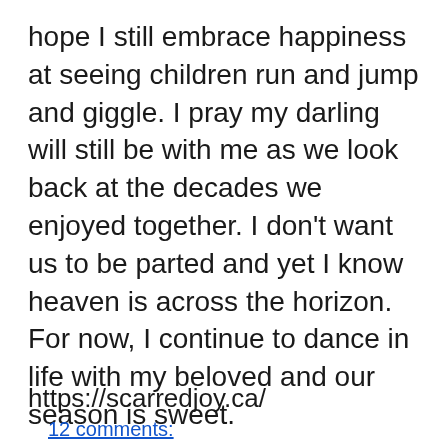hope I still embrace happiness at seeing children run and jump and giggle. I pray my darling will still be with me as we look back at the decades we enjoyed together. I don't want us to be parted and yet I know heaven is across the horizon. For now, I continue to dance in life with my beloved and our season is sweet.
https://scarredjoy.ca/
12 comments: